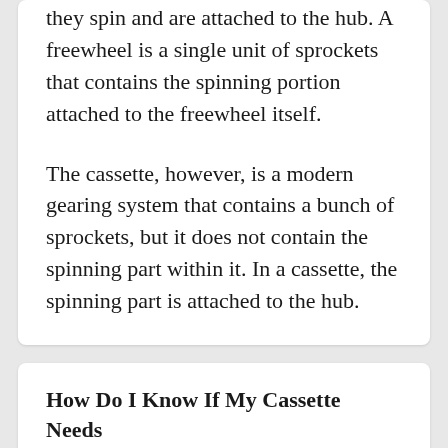they spin and are attached to the hub. A freewheel is a single unit of sprockets that contains the spinning portion attached to the freewheel itself.
The cassette, however, is a modern gearing system that contains a bunch of sprockets, but it does not contain the spinning part within it. In a cassette, the spinning part is attached to the hub.
How Do I Know If My Cassette Needs Replacing?
If you are having trouble shifting gears,